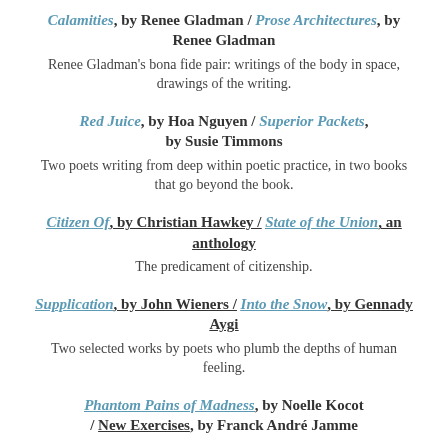Calamities, by Renee Gladman / Prose Architectures, by Renee Gladman
Renee Gladman's bona fide pair: writings of the body in space, drawings of the writing.
Red Juice, by Hoa Nguyen / Superior Packets, by Susie Timmons
Two poets writing from deep within poetic practice, in two books that go beyond the book.
Citizen Of, by Christian Hawkey / State of the Union, an anthology
The predicament of citizenship.
Supplication, by John Wieners / Into the Snow, by Gennady Aygi
Two selected works by poets who plumb the depths of human feeling.
Phantom Pains of Madness, by Noelle Kocot / New Exercises, by Franck André Jamme